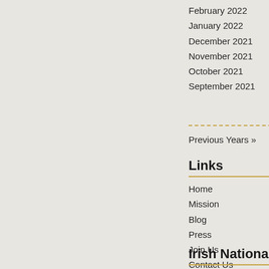February 2022
January 2022
December 2021
November 2021
October 2021
September 2021
Previous Years »
Links
Home
Mission
Blog
Press
Join Us
Contact Us
MacBride Principles
Mc Cord
Archives
Anti-Catholicism
Irish National Caucus